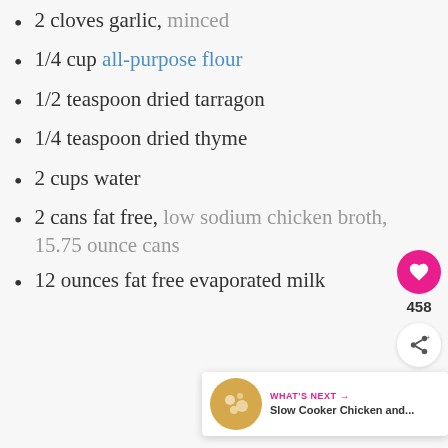2 cloves garlic, minced
1/4 cup all-purpose flour
1/2 teaspoon dried tarragon
1/4 teaspoon dried thyme
2 cups water
2 cans fat free, low sodium chicken broth, 15.75 ounce cans
12 ounces fat free evaporated milk
[Figure (infographic): Heart/like button with pink background showing count 458, and share button below]
[Figure (infographic): What's Next panel with thumbnail image for Slow Cooker Chicken and...]